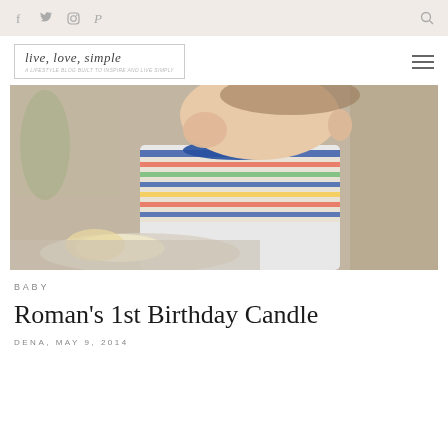Navigation bar with social icons (Facebook, Twitter, Instagram, Pinterest) and search icon
[Figure (logo): live, love, simple blog logo in italic script inside a rectangle border, with tagline underneath]
[Figure (photo): A toddler in a colorful striped shirt sitting in a high chair, eating cake with hands, a plate with cake visible in the foreground]
BABY
Roman's 1st Birthday Candle
DENA, MAY 9, 2014